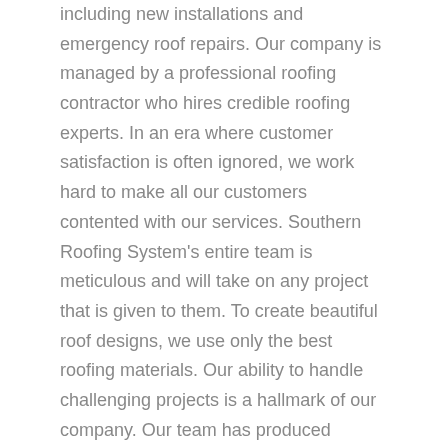including new installations and emergency roof repairs. Our company is managed by a professional roofing contractor who hires credible roofing experts. In an era where customer satisfaction is often ignored, we work hard to make all our customers contented with our services. Southern Roofing System's entire team is meticulous and will take on any project that is given to them. To create beautiful roof designs, we use only the best roofing materials. Our ability to handle challenging projects is a hallmark of our company. Our team has produced remarkable results while working on some of the most challenging roof designs. They are also capable of working efficiently in difficult-to-access areas. We strive to minimize disruptions to your property and maintain its cleanliness when handling projects.
Our services are affordable and we provide clients with